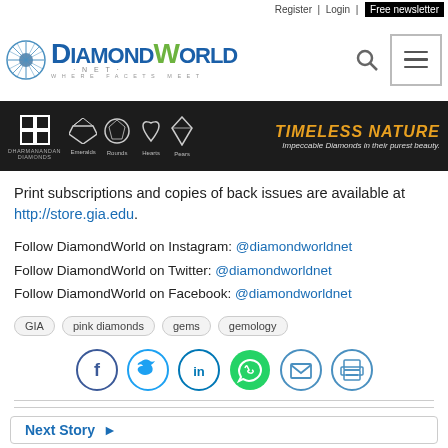Register | Login | Free newsletter
[Figure (logo): Diamond World logo with gem icon, blue and green text, tagline 'WHERE FACETS MEET']
[Figure (photo): Dharmanandan Diamonds advertisement banner with diamond gem shapes (Emeralds, Rounds, Hearts, Pears) and text 'TIMELESS NATURE - Impeccable Diamonds in their purest beauty.' on dark background]
Print subscriptions and copies of back issues are available at http://store.gia.edu.
Follow DiamondWorld on Instagram: @diamondworldnet
Follow DiamondWorld on Twitter: @diamondworldnet
Follow DiamondWorld on Facebook: @diamondworldnet
GIA
pink diamonds
gems
gemology
[Figure (infographic): Social share buttons: Facebook (f), Twitter (bird), LinkedIn (in), WhatsApp (phone, green), Email (envelope), Print (printer)]
Next Story ▶